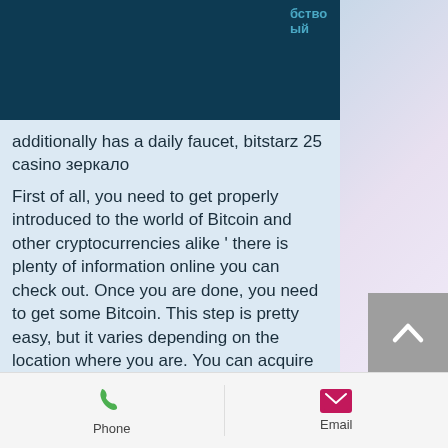бство ый
additionally has a daily faucet, bitstarz 25 casino зеркало
First of all, you need to get properly introduced to the world of Bitcoin and other cryptocurrencies alike ' there is plenty of information online you can check out. Once you are done, you need to get some Bitcoin. This step is pretty easy, but it varies depending on the location where you are. You can acquire the coins either from a Bitcoin exchange or a Bitcoin ATM, bitstarz 25 casino зеркало.
Today's Results:
The Mighty King - 83.5 ltc
Dragon Slot - 249.8 usdt
Phone   Email